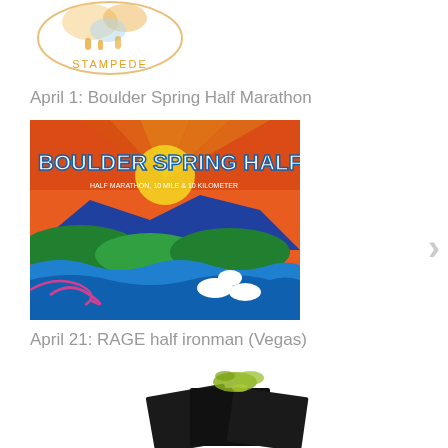[Figure (logo): Stampede race logo with cartoon running animals in orange and tan colors, circular design with 'STAMPEDE' text at bottom]
April 1: Boulder Spring Half Marathon
[Figure (photo): Colorful illustrated poster for Boulder Spring Half race showing 'BOULDER SPRING HALF - Half Marathon, 10 Mile & 10 Kilometer' with vibrant folk-art style imagery of mountains, waves, sun, and white birds]
April 21: RAGE half ironman (Vegas)
[Figure (photo): Partially visible image showing dark cards/papers with a green splatter design, presumably RAGE ironman Vegas event materials]